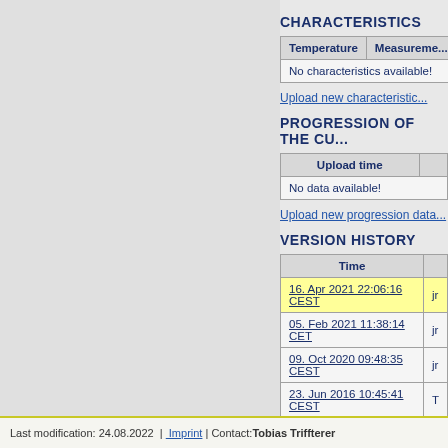CHARACTERISTICS
| Temperature | Measurement |
| --- | --- |
| No characteristics available! |  |
Upload new characteristic...
PROGRESSION OF THE CU...
| Upload time |  |
| --- | --- |
| No data available! |  |
Upload new progression data...
VERSION HISTORY
| Time |  |
| --- | --- |
| 16. Apr 2021 22:06:16 CEST | jr |
| 05. Feb 2021 11:38:14 CET | jr |
| 09. Oct 2020 09:48:35 CEST | jr |
| 23. Jun 2016 10:45:41 CEST | T |
Last modification: 24.08.2022  |  Imprint  |  Contact: Tobias Triffterer